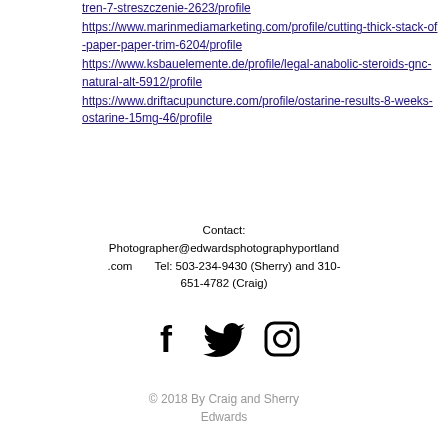tren-7-streszczenie-2623/profile https://www.marinmediamarketing.com/profile/cutting-thick-stack-of-paper-paper-trim-6204/profile https://www.ksbauelemente.de/profile/legal-anabolic-steroids-gnc-natural-alt-5912/profile https://www.driftacupuncture.com/profile/ostarine-results-8-weeks-ostarine-15mg-46/profile
Contact:
Photographer@edwardsphotographyportland.com      Tel: 503-234-9430 (Sherry) and 310-651-4782 (Craig)
[Figure (illustration): Three social media icons: Facebook (f), Twitter (bird), Instagram (camera) in black]
© 2018 By Craig and Sherry Edwards